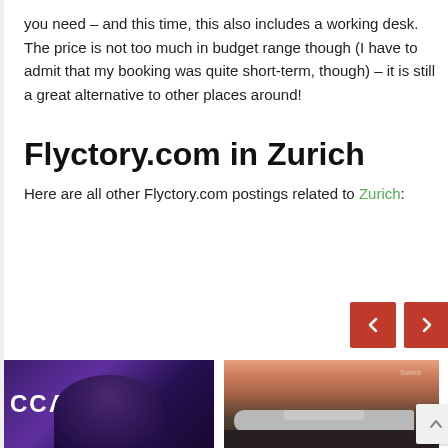you need – and this time, this also includes a working desk. The price is not too much in budget range though (I have to admit that my booking was quite short-term, though) – it is still a great alternative to other places around!
Flyctory.com in Zurich
Here are all other Flyctory.com postings related to Zurich:
[Figure (photo): Navigation arrow buttons (left and right chevrons) on red background]
[Figure (photo): Photo of a man with glasses and dark hair in a dark blue-purple lit environment with partial text 'CCA' visible]
[Figure (photo): Photo of an airplane on a tarmac at sunset/dusk with pink and orange sky]